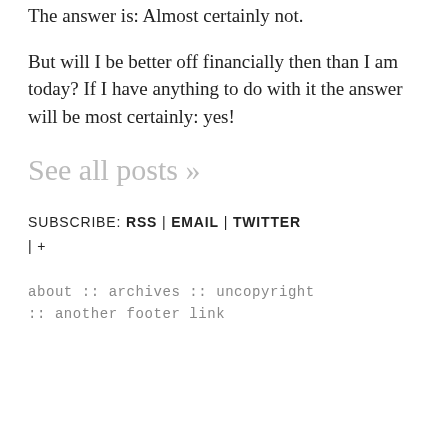The answer is: Almost certainly not.
But will I be better off financially then than I am today? If I have anything to do with it the answer will be most certainly: yes!
See all posts »
SUBSCRIBE: RSS | EMAIL | TWITTER | +
about :: archives :: uncopyright :: another footer link